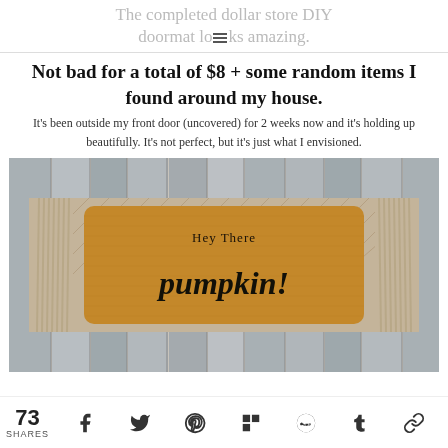The completed dollar store DIY doormat looks amazing.
Not bad for a total of $8 + some random items I found around my house.
It's been outside my front door (uncovered) for 2 weeks now and it's holding up beautifully. It's not perfect, but it's just what I envisioned.
[Figure (photo): A DIY doormat on a wooden background. The mat shows a coir mat with 'Hey There pumpkin!' written in cursive, layered on a burlap/herringbone runner with fringe on the sides.]
73 SHARES  [Facebook] [Twitter] [Pinterest] [Flipboard] [Reddit] [Tumblr] [Link]